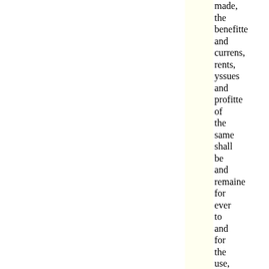made, the benefitte and currens, rents, yssues and profitte of the same shall be and remaine for ever to and for the use, benefitt and behoofe of the poore